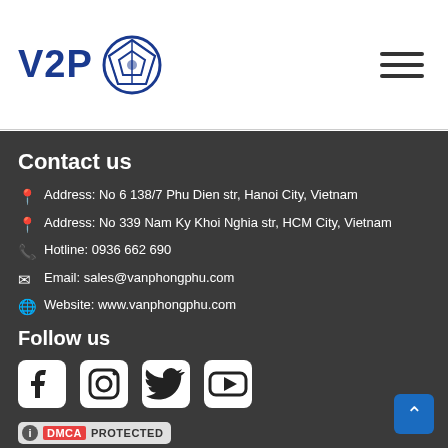[Figure (logo): V2P logo with blue text 'V2P' and a geometric globe/sphere icon in blue]
[Figure (other): Hamburger menu icon (three horizontal lines)]
Contact us
Address: No 6 138/7 Phu Dien str, Hanoi City, Vietnam
Address: No 339 Nam Ky Khoi Nghia str, HCM City, Vietnam
Hotline: 0936 662 690
Email: sales@vanphongphu.com
Website: www.vanphongphu.com
Follow us
[Figure (other): Social media icons: Facebook, Instagram, Twitter, YouTube]
[Figure (other): DMCA Protected badge]